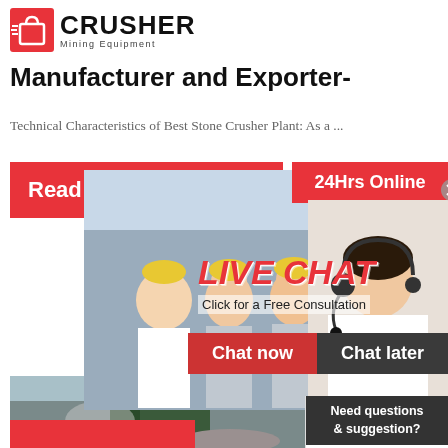[Figure (logo): Crusher Mining Equipment logo with red shopping bag icon and bold CRUSHER text]
Manufacturer and Exporter-
Technical Characteristics of Best Stone Crusher Plant: As a ...
[Figure (photo): Orange Read More button partially visible on left]
[Figure (infographic): 24Hrs Online red badge top right, Live Chat popup overlay with workers in hard hats photo, LIVE CHAT red italic text, Click for a Free Consultation, Chat now red button, Chat later dark button, close X circle]
[Figure (photo): Headset operator woman on right side panel]
[Figure (photo): Stone crusher machine in operation at bottom left]
crush
image
PEAKDM
[Figure (infographic): Right sidebar: Need questions & suggestion? Chat Now oval button, Enquiry dashed section, limingjlmofen@sina.com email]